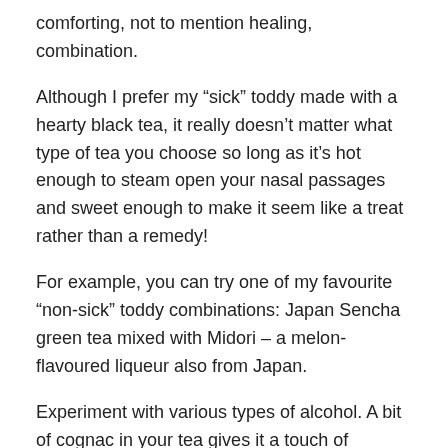comforting, not to mention healing, combination.
Although I prefer my “sick” toddy made with a hearty black tea, it really doesn’t matter what type of tea you choose so long as it’s hot enough to steam open your nasal passages and sweet enough to make it seem like a treat rather than a remedy!
For example, you can try one of my favourite “non-sick” toddy combinations: Japan Sencha green tea mixed with Midori – a melon-flavoured liqueur also from Japan.
Experiment with various types of alcohol. A bit of cognac in your tea gives it a touch of elegance, but a splash of moonshine, if you are so inclined, will have the same therapeutic effect.
If you don’t consume alcohol, choose any tea, perhaps a